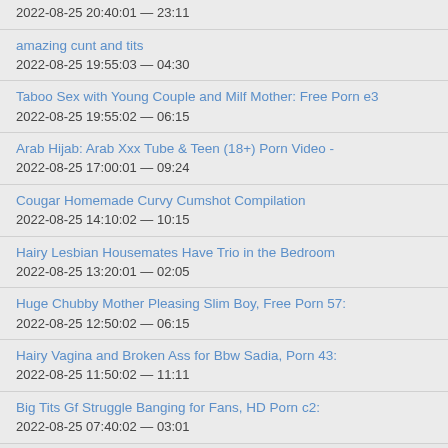2022-08-25 20:40:01 — 23:11
amazing cunt and tits
2022-08-25 19:55:03 — 04:30
Taboo Sex with Young Couple and Milf Mother: Free Porn e3
2022-08-25 19:55:02 — 06:15
Arab Hijab: Arab Xxx Tube & Teen (18+) Porn Video -
2022-08-25 17:00:01 — 09:24
Cougar Homemade Curvy Cumshot Compilation
2022-08-25 14:10:02 — 10:15
Hairy Lesbian Housemates Have Trio in the Bedroom
2022-08-25 13:20:01 — 02:05
Huge Chubby Mother Pleasing Slim Boy, Free Porn 57:
2022-08-25 12:50:02 — 06:15
Hairy Vagina and Broken Ass for Bbw Sadia, Porn 43:
2022-08-25 11:50:02 — 11:11
Big Tits Gf Struggle Banging for Fans, HD Porn c2:
2022-08-25 07:40:02 — 03:01